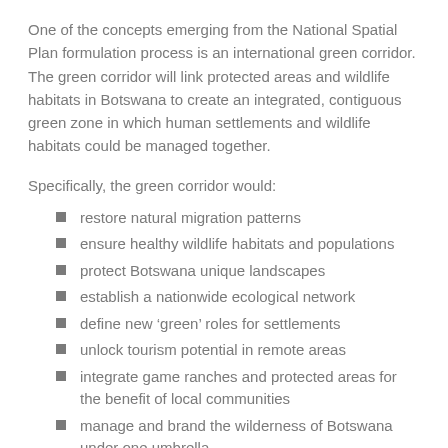One of the concepts emerging from the National Spatial Plan formulation process is an international green corridor. The green corridor will link protected areas and wildlife habitats in Botswana to create an integrated, contiguous green zone in which human settlements and wildlife habitats could be managed together.
Specifically, the green corridor would:
restore natural migration patterns
ensure healthy wildlife habitats and populations
protect Botswana unique landscapes
establish a nationwide ecological network
define new ‘green’ roles for settlements
unlock tourism potential in remote areas
integrate game ranches and protected areas for the benefit of local communities
manage and brand the wilderness of Botswana under one umbrella